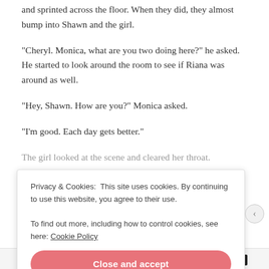and sprinted across the floor. When they did, they almost bump into Shawn and the girl.
“Cheryl. Monica, what are you two doing here?” he asked. He started to look around the room to see if Riana was around as well.
“Hey, Shawn. How are you?” Monica asked.
“I’m good. Each day gets better.”
The girl looked at the scene and cleared her throat.
Privacy & Cookies: This site uses cookies. By continuing to use this website, you agree to their use.
To find out more, including how to control cookies, see here: Cookie Policy
Close and accept